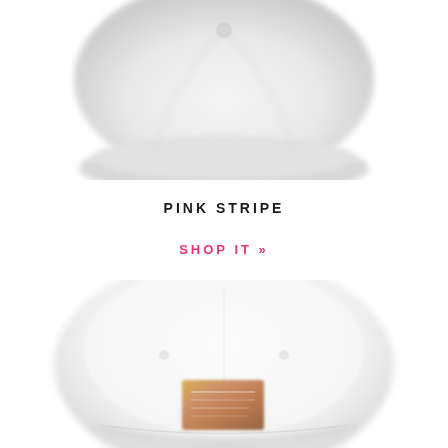[Figure (photo): Top-down/back view of a white baseball cap, partially cropped at top of page]
PINK STRIPE
SHOP IT »
[Figure (photo): Front view of a white baseball cap with a small rectangular label/patch on the front, partially cropped at bottom of page]